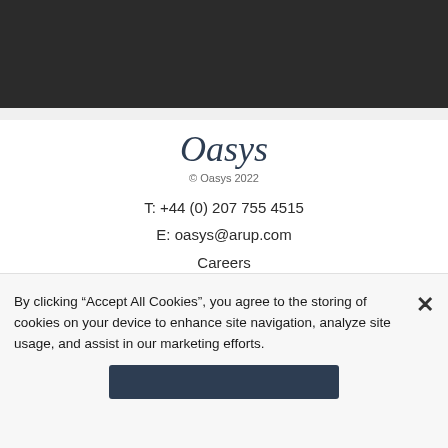[Figure (other): Dark header/navigation bar area at top of page]
Oasys
© Oasys 2022
T: +44 (0) 207 755 4515
E: oasys@arup.com
Careers
Terms & Conditions
Privacy Policy
By clicking “Accept All Cookies”, you agree to the storing of cookies on your device to enhance site navigation, analyze site usage, and assist in our marketing efforts.